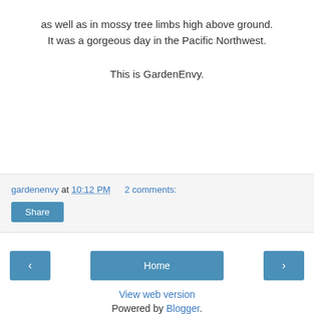as well as in mossy tree limbs high above ground. It was a gorgeous day in the Pacific Northwest.
This is GardenEnvy.
gardenenvy at 10:12 PM   2 comments:
Share
Home
View web version
Powered by Blogger.